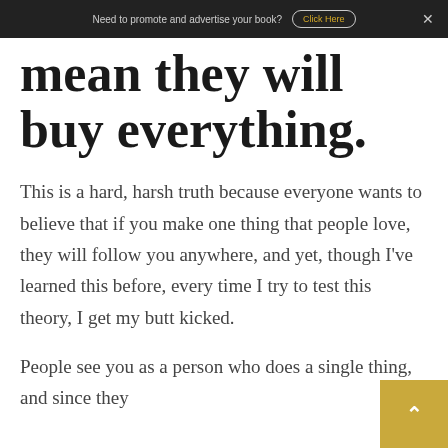Need to promote and advertise your book? Click Here
mean they will buy everything.
This is a hard, harsh truth because everyone wants to believe that if you make one thing that people love, they will follow you anywhere, and yet, though I've learned this before, every time I try to test this theory, I get my butt kicked.
People see you as a person who does a single thing, and since they